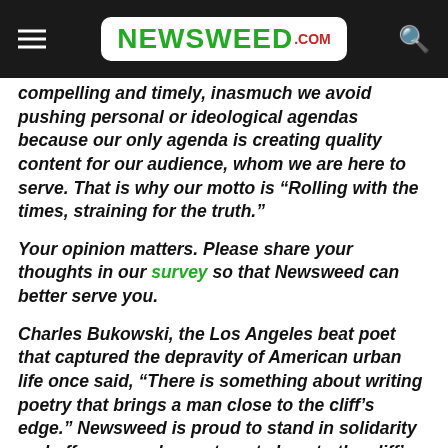NEWSWEED.COM
compelling and timely, inasmuch we avoid pushing personal or ideological agendas because our only agenda is creating quality content for our audience, whom we are here to serve. That is why our motto is “Rolling with the times, straining for the truth.”
Your opinion matters. Please share your thoughts in our survey so that Newsweed can better serve you.
Charles Bukowski, the Los Angeles beat poet that captured the depravity of American urban life once said, “There is something about writing poetry that brings a man close to the cliff’s edge.” Newsweed is proud to stand in solidarity and offer you a chance to get close to the cliff’s edge with our first Power of Poetry Contest. Are you a budding bard, a versatile versifier, a rhyming regaler? Do you march to the beat of